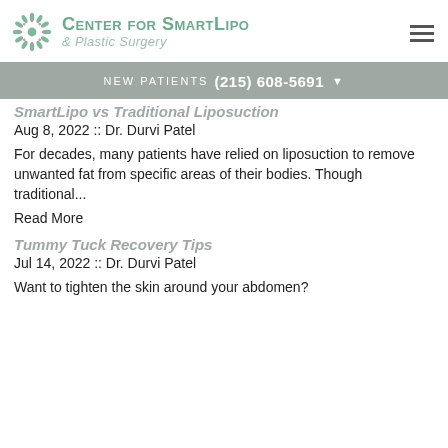[Figure (logo): Center for SmartLipo & Plastic Surgery logo with decorative circular floral icon in green/teal and hamburger menu icon]
NEW PATIENTS  (215) 608-5691
SmartLipo vs Traditional Liposuction
Aug 8, 2022 :: Dr. Durvi Patel
For decades, many patients have relied on liposuction to remove unwanted fat from specific areas of their bodies. Though traditional...
Read More
Tummy Tuck Recovery Tips
Jul 14, 2022 :: Dr. Durvi Patel
Want to tighten the skin around your abdomen?